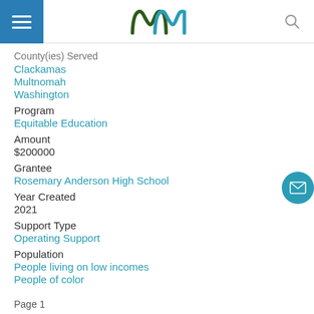County(ies) Served
Clackamas
Multnomah
Washington
Program
Equitable Education
Amount
$200000
Grantee
Rosemary Anderson High School
Year Created
2021
Support Type
Operating Support
Population
People living on low incomes
People of color
Page 1